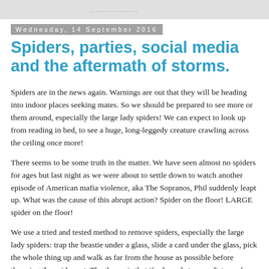................
Wednesday, 14 September 2016
Spiders, parties, social media and the aftermath of storms.
Spiders are in the news again.  Warnings are out that they will be heading into indoor places seeking mates. So we should be prepared to see more or them around, especially the large lady spiders! We can expect to look up from reading in bed, to see a huge, long-leggedy creature crawling across the ceiling once more!
There seems to be some truth in the matter. We have seen almost no spiders for ages but last night as we were about to settle down to watch another episode of American mafia violence, aka The Sopranos, Phil suddenly leapt up. What was the cause of this abrupt action? Spider on the floor! LARGE spider on the floor!
We use a tried and tested method to remove spiders, especially the large lady spiders: trap the beastie under a glass, slide a card under the glass, pick the whole thing up and walk as far from the house as possible before throwing the spider out. The theory is that if released at some distance from the house, the spider just